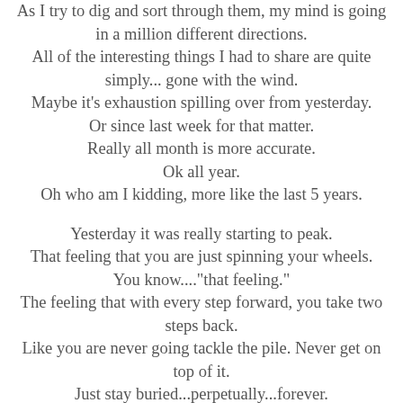As I try to dig and sort through them, my mind is going in a million different directions. All of the interesting things I had to share are quite simply... gone with the wind. Maybe it's exhaustion spilling over from yesterday. Or since last week for that matter. Really all month is more accurate. Ok all year. Oh who am I kidding, more like the last 5 years.

Yesterday it was really starting to peak. That feeling that you are just spinning your wheels. You know...."that feeling." The feeling that with every step forward, you take two steps back. Like you are never going tackle the pile. Never get on top of it. Just stay buried...perpetually...forever. For every corner of the house you clean